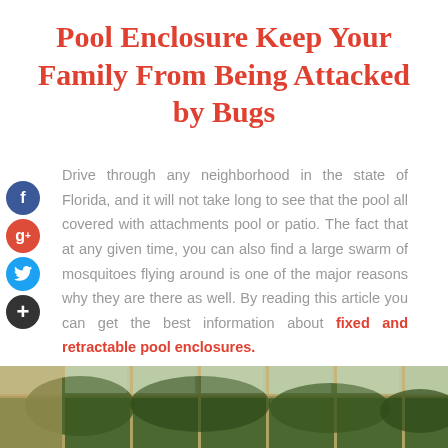Pool Enclosure Keep Your Family From Being Attacked by Bugs
Drive through any neighborhood in the state of Florida, and it will not take long to see that the pool all covered with attachments pool or patio. The fact that at any given time, you can also find a large swarm of mosquitoes flying around is one of the major reasons why they are there as well. By reading this article you can get the best information about fixed and retractable pool enclosures.
[Figure (photo): Photograph of a pool enclosure structure with glass or screen panels, surrounded by green trees in the background.]